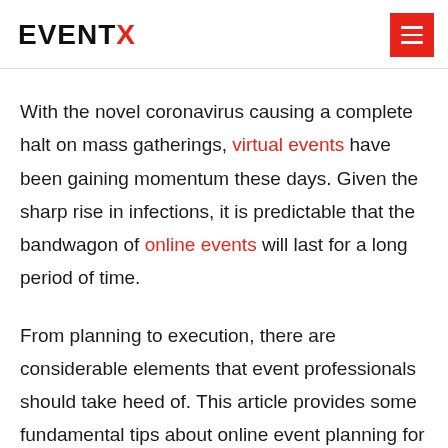EVENTX
With the novel coronavirus causing a complete halt on mass gatherings, virtual events have been gaining momentum these days. Given the sharp rise in infections, it is predictable that the bandwagon of online events will last for a long period of time.
From planning to execution, there are considerable elements that event professionals should take heed of. This article provides some fundamental tips about online event planning for readers to